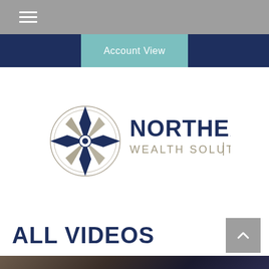[Figure (screenshot): Gray top navigation bar with white hamburger menu icon (three horizontal lines)]
Account View
[Figure (logo): Northeast Wealth Solutions logo: compass rose icon in navy/gray on the left, bold navy text 'NORTHEAST' above lighter gray 'WEALTH SOLUTIONS' on the right]
ALL VIDEOS
[Figure (photo): Partial photo at bottom of page showing people in dark clothing, likely a video thumbnail]